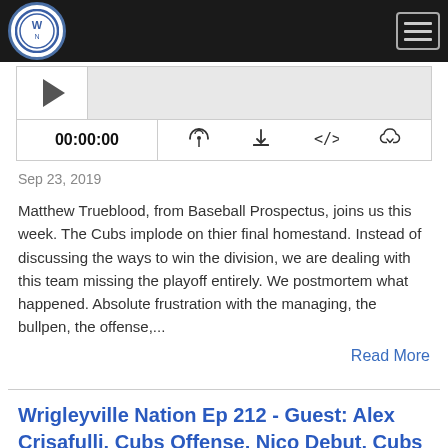Wrigleyville Nation
[Figure (screenshot): Podcast audio player with play button, progress bar, time display 00:00:00, and control icons for subscribe, download, embed, and share]
Sep 23, 2019
Matthew Trueblood, from Baseball Prospectus, joins us this week. The Cubs implode on thier final homestand. Instead of discussing the ways to win the division, we are dealing with this team missing the playoff entirely. We postmortem what happened. Absolute frustration with the managing, the bullpen, the offense,...
Read More
Wrigleyville Nation Ep 212 - Guest: Alex Crisafulli, Cubs Offense, Nico Debut, Cubs Cardinals Preview